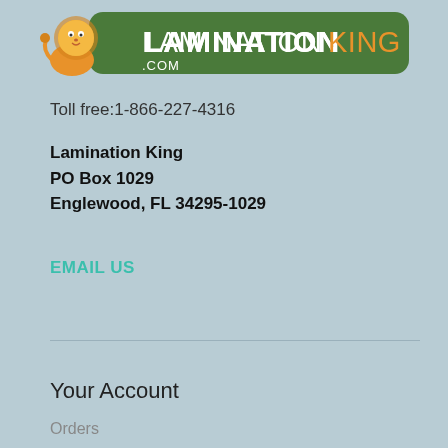[Figure (logo): LaminationKing.com logo with orange lion mascot on green rounded rectangle banner with orange and white text]
Toll free:1-866-227-4316
Lamination King
PO Box 1029
Englewood, FL 34295-1029
EMAIL US
Your Account
Orders